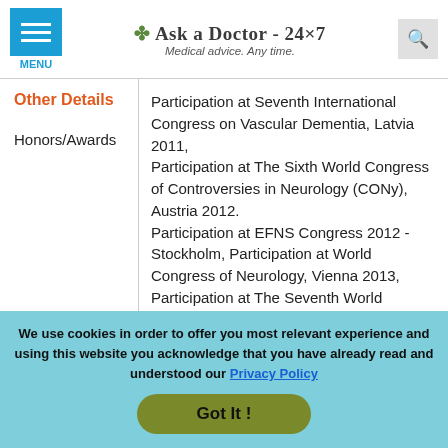Ask a Doctor - 24x7 | Medical advice. Any time.
Other Details
Honors/Awards
Participation at Seventh International Congress on Vascular Dementia, Latvia 2011, Participation at The Sixth World Congress of Controversies in Neurology (CONy), Austria 2012. Participation at EFNS Congress 2012 - Stockholm, Participation at World Congress of Neurology, Vienna 2013, Participation at The Seventh World Congress of Controversies in Neurology (CONy), Turkey 2013,
We use cookies in order to offer you most relevant experience and using this website you acknowledge that you have already read and understood our Privacy Policy. Got It !